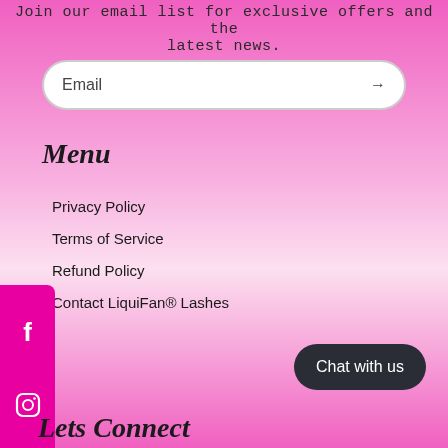Join our email list for exclusive offers and the latest news.
[Figure (other): Email input field with arrow/submit button, white rounded rectangle on pink background]
Menu
Privacy Policy
Terms of Service
Refund Policy
Contact LiquiFan® Lashes
[Figure (other): Social media sidebar with Facebook and Instagram icons on magenta background]
[Figure (other): Chat with us button, dark rounded pill shape]
Lets Connect